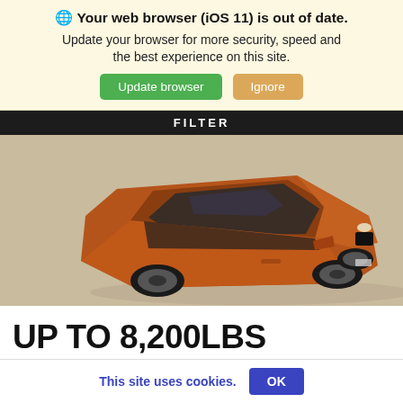🌐 Your web browser (iOS 11) is out of date. Update your browser for more security, speed and the best experience on this site.
Update browser | Ignore
FILTER
[Figure (photo): Aerial/top-angle view of an orange/bronze Land Rover Discovery SUV on a sandy surface]
UP TO 8,200LBS TOWING CAPACITY
This site uses cookies.  OK